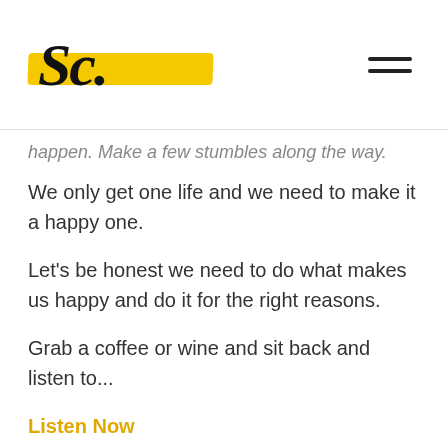[Figure (logo): Sc. logo with yellow brushstroke background and cursive/script text]
happen. Make a few stumbles along the way.
We only get one life and we need to make it a happy one.
Let's be honest we need to do what makes us happy and do it for the right reasons.
Grab a coffee or wine and sit back and listen to...
Listen Now